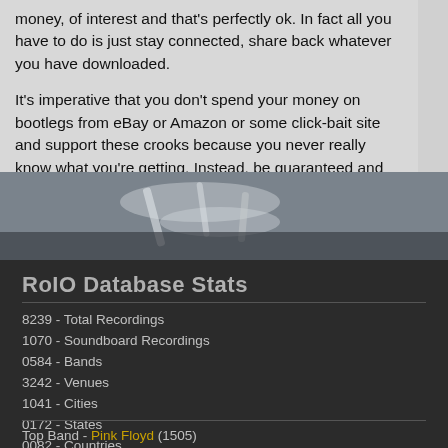money, of interest and that's perfectly ok. In fact all you have to do is just stay connected, share back whatever you have downloaded.
It's imperative that you don't spend your money on bootlegs from eBay or Amazon or some click-bait site and support these crooks because you never really know what you're getting. Instead, be guaranteed and meet tapers from around the world and obtain these original recordings for free, right here.
[Figure (photo): Blurry photo of a concert or music performance, dark tones with light streaks]
RoIO Database Stats
8239 - Total Recordings
1070 - Soundboard Recordings
0584 - Bands
3242 - Venues
1041 - Cities
0172 - States
0082 - Countries
Top Band - Pink Floyd (1505)
Top City - London (644)